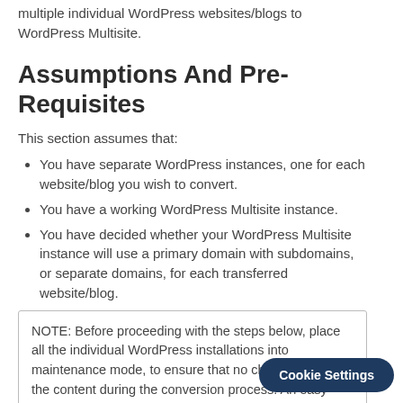multiple individual WordPress websites/blogs to WordPress Multisite.
Assumptions And Pre-Requisites
This section assumes that:
You have separate WordPress instances, one for each website/blog you wish to convert.
You have a working WordPress Multisite instance.
You have decided whether your WordPress Multisite instance will use a primary domain with subdomains, or separate domains, for each transferred website/blog.
NOTE: Before proceeding with the steps below, place all the individual WordPress installations into maintenance mode, to ensure that no changes occur to the content during the conversion process. An easy way to do this is with the WordPress Maintenance Mode plugin.